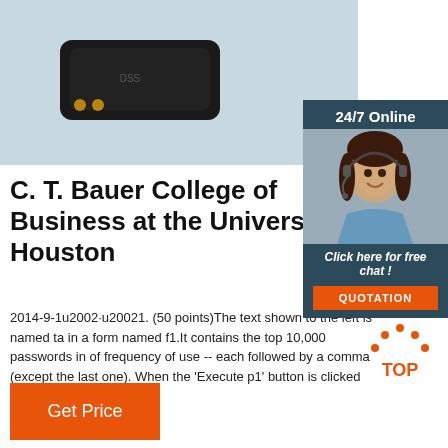[Figure (photo): Product photo: black electronic device on light blue background]
[Figure (photo): 24/7 Online widget with woman wearing headset; orange QUOTATION button]
C. T. Bauer College of Business at the University of Houston
2014-9-1u2002·u20021. (50 points)The text shown to the left is named ta in a form named f1.It contains the top 10,000 passwords in of frequency of use -- each followed by a comma (except the last one). When the 'Execute p1' button is clicked the …
[Figure (illustration): TOP icon with orange dots and orange text]
Get Price